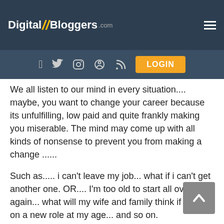Digital//Bloggers.com
We all listen to our mind in every situation.... maybe, you want to change your career because its unfulfilling, low paid and quite frankly making you miserable. The mind may come up with all kinds of nonsense to prevent you from making a change ......
Such as..... i can't leave my job... what if i can't get another one. OR.... I'm too old to start all over again... what will my wife and family think if i take on a new role at my age... and so on.
Maybe you are feeling unfit and have gained a few extra pounds. You know that all you need to do is eat